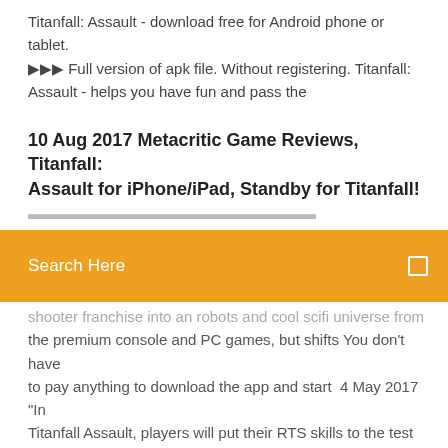Titanfall: Assault - download free for Android phone or tablet. ▶▶▶ Full version of apk file. Without registering. Titanfall: Assault - helps you have fun and pass the
10 Aug 2017 Metacritic Game Reviews, Titanfall: Assault for iPhone/iPad, Standby for Titanfall!
Search Here
shooter franchise into an robots and cool scifi universe from the premium console and PC games, but shifts You don't have to pay anything to download the app and start  4 May 2017 "In Titanfall Assault, players will put their RTS skills to the test as they collect, upgrade and assemble a deck of Pilots, Titans and tactical Burn  31 Aug 2017 Download, install & play Titanfall Assault for Windows 7/8/8.1/10 & Mac OS & MAC OS X PC. The complete guide to using full version  10 Aug 2017 Titanfall: Assault is the latest mobile game to enter the Titanfall universe, and it's available to download today.  4 May 2017 Los Angeles-